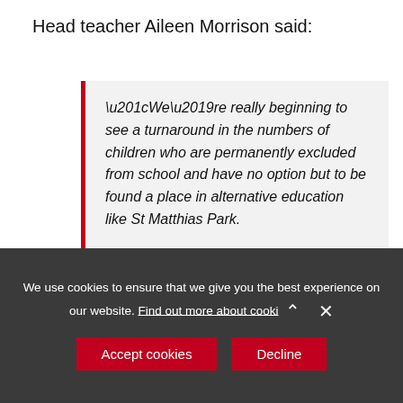Head teacher Aileen Morrison said:
“We’re really beginning to see a turnaround in the numbers of children who are permanently excluded from school and have no option but to be found a place in alternative education like St Matthias Park.

“Permanent exclusion is a very blunt tool to deal with a child who isn’t managing to be part of the their school
We use cookies to ensure that we give you the best experience on our website. Find out more about cooki